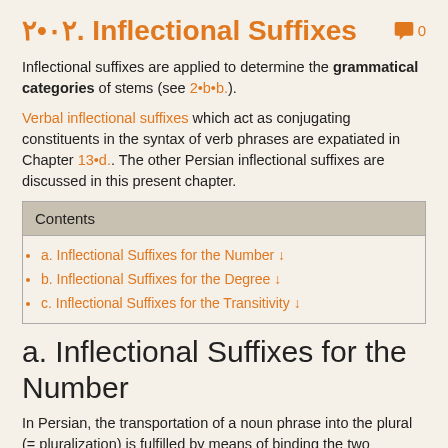۲•۰۲. Inflectional Suffixes
Inflectional suffixes are applied to determine the grammatical categories of stems (see 2•b•b.).
Verbal inflectional suffixes which act as conjugating constituents in the syntax of verb phrases are expatiated in Chapter 13•d.. The other Persian inflectional suffixes are discussed in this present chapter.
| Contents |
| --- |
| a. Inflectional Suffixes for the Number ↓ |
| b. Inflectional Suffixes for the Degree ↓ |
| c. Inflectional Suffixes for the Transitivity ↓ |
a. Inflectional Suffixes for the Number
In Persian, the transportation of a noun phrase into the plural (= pluralization) is fulfilled by means of binding the two following inflectional suffixes:
The inflectional suffix /hɑ/ is the common pluralizing